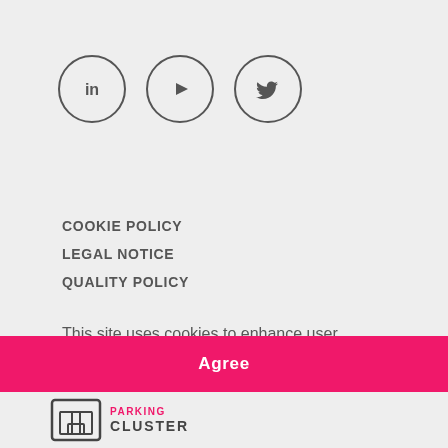[Figure (illustration): Three social media icon circles: LinkedIn (in), YouTube (play button), Twitter (bird icon)]
COOKIE POLICY
LEGAL NOTICE
QUALITY POLICY
This site uses cookies to enhance user experience. Continue browsing implies acceptance of the cookies policy.
More information
Agree
[Figure (logo): Parking Cluster logo with icon and text]